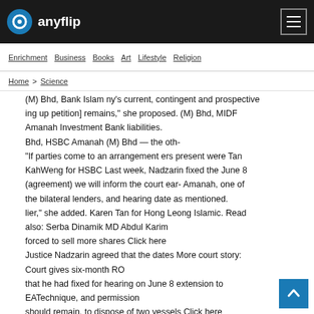anyflip
Enrichment  Business  Books  Art  Lifestyle  Religion
Home  Science
(M) Bhd, Bank Islam ny's current, contingent and prospective ing up petition] remains," she proposed. (M) Bhd, MIDF Amanah Investment Bank liabilities. Bhd, HSBC Amanah (M) Bhd — the oth- "If parties come to an arrangement ers present were Tan KahWeng for HSBC Last week, Nadzarin fixed the June 8 (agreement) we will inform the court ear- Amanah, one of the bilateral lenders, and hearing date as mentioned. lier," she added. Karen Tan for Hong Leong Islamic. Read also: Serba Dinamik MD Abdul Karim forced to sell more shares Click here Justice Nadzarin agreed that the dates More court story: Court gives six-month RO that he had fixed for hearing on June 8 extension to EATechnique, and permission should remain. to dispose of two vessels Click here